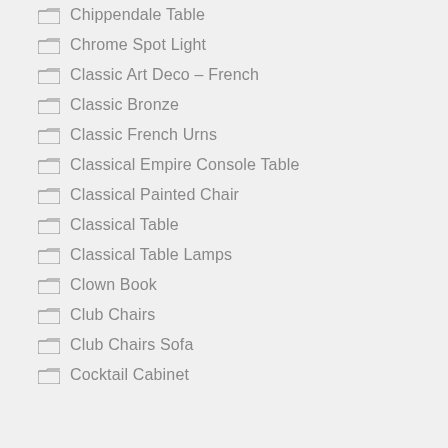Chippendale Table
Chrome Spot Light
Classic Art Deco – French
Classic Bronze
Classic French Urns
Classical Empire Console Table
Classical Painted Chair
Classical Table
Classical Table Lamps
Clown Book
Club Chairs
Club Chairs Sofa
Cocktail Cabinet